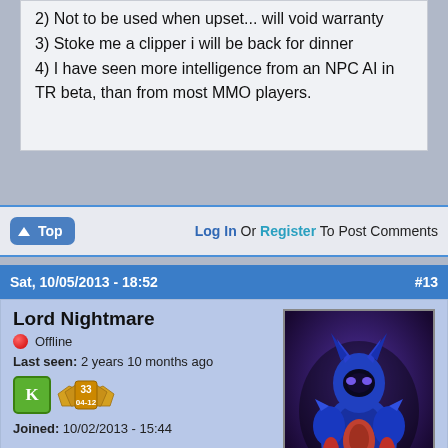2) Not to be used when upset... will void warranty
3) Stoke me a clipper i will be back for dinner
4) I have seen more intelligence from an NPC AI in TR beta, than from most MMO players.
Log In Or Register To Post Comments
Sat, 10/05/2013 - 18:52  #13
Lord Nightmare
Offline
Last seen: 2 years 10 months ago
Joined: 10/02/2013 - 15:44
[Figure (photo): Avatar image of Lord Nightmare: a blue and red armored fantasy character]
One thing I noticed is that avatars end up being broken links after a while.